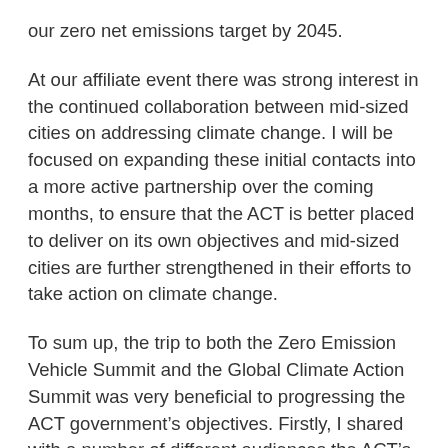our zero net emissions target by 2045.
At our affiliate event there was strong interest in the continued collaboration between mid-sized cities on addressing climate change. I will be focused on expanding these initial contacts into a more active partnership over the coming months, to ensure that the ACT is better placed to deliver on its own objectives and mid-sized cities are further strengthened in their efforts to take action on climate change.
To sum up, the trip to both the Zero Emission Vehicle Summit and the Global Climate Action Summit was very beneficial to progressing the ACT government's objectives. Firstly, I shared with a number of different audiences the ACT's strong climate change commitments, demonstrating our continued global leadership on this issue. Secondly, I strengthened connections with other governments,